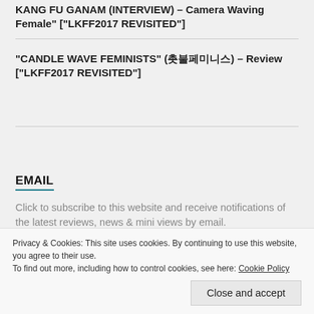KANG FU GANAM (INTERVIEW) – Camera Waving Female" ["LKFF2017 REVISITED"]
"CANDLE WAVE FEMINISTS" (촛불페미니스) – Review ["LKFF2017 REVISITED"]
EMAIL
Click to subscribe to this website and receive notifications of the latest reviews, news & mini views by email.
Enter your email address
Privacy & Cookies: This site uses cookies. By continuing to use this website, you agree to their use.
To find out more, including how to control cookies, see here: Cookie Policy
Close and accept